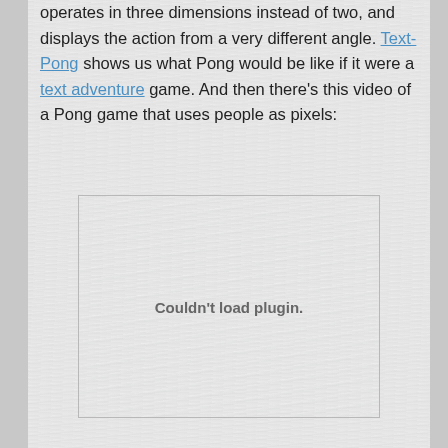operates in three dimensions instead of two, and displays the action from a very different angle. Text-Pong shows us what Pong would be like if it were a text adventure game. And then there's this video of a Pong game that uses people as pixels:
[Figure (other): Embedded video plugin area showing 'Couldn't load plugin.' error message. Gray brushed-metal style background.]